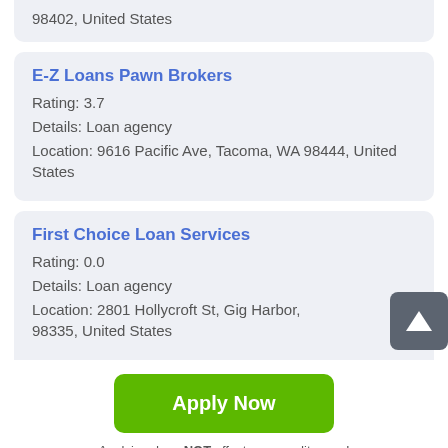98402, United States
E-Z Loans Pawn Brokers
Rating: 3.7
Details: Loan agency
Location: 9616 Pacific Ave, Tacoma, WA 98444, United States
First Choice Loan Services
Rating: 0.0
Details: Loan agency
Location: 2801 Hollycroft St, Gig Harbor, 98335, United States
Apply Now
Applying does NOT affect your credit score!
No credit check to apply.